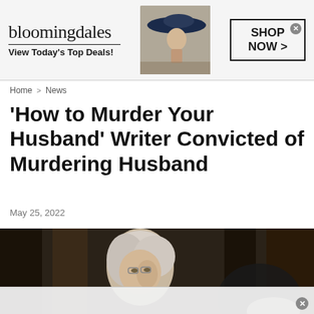[Figure (screenshot): Bloomingdale's advertisement banner with logo, fashion model wearing a large hat, and 'SHOP NOW >' button]
Home > News
'How to Murder Your Husband' Writer Convicted of Murdering Husband
May 25, 2022
[Figure (photo): Photo of an older woman with white/grey hair looking to the side in a courtroom, with another person visible in the foreground out of focus]